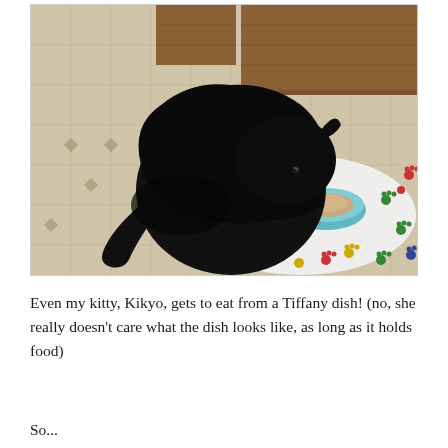[Figure (photo): A black cat eating from a light blue bowl labeled 'cat' on a white placemat with colorful paw print decorations. The floor is tiled with a beige/white pattern and there is a wooden cabinet in the background.]
Even my kitty, Kikyo, gets to eat from a Tiffany dish! (no, she really doesn't care what the dish looks like, as long as it holds food)
So...